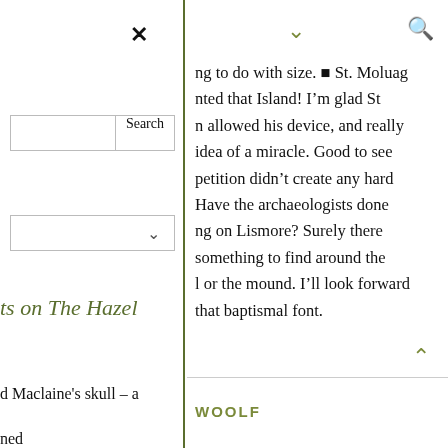×
Search
∨
ts on The Hazel
d Maclaine's skull – a
ned
∨
🔍
ng to do with size. ▪ St. Moluag nted that Island! I'm glad St n allowed his device, and really idea of a miracle. Good to see petition didn't create any hard Have the archaeologists done ng on Lismore? Surely there something to find around the l or the mound. I'll look forward that baptismal font.
∧
WOOLF